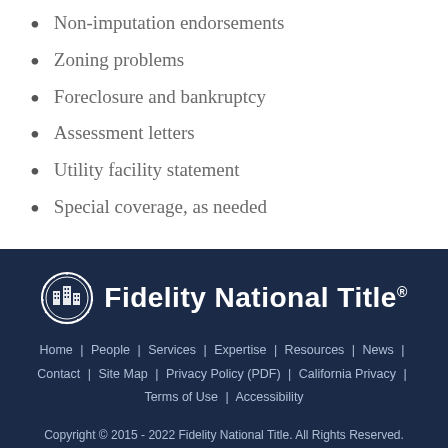Non-imputation endorsements
Zoning problems
Foreclosure and bankruptcy
Assessment letters
Utility facility statement
Special coverage, as needed
[Figure (logo): Fidelity National Title logo with circular building icon and white text on dark navy background]
Home | People | Services | Expertise | Resources | News | Contact | Site Map | Privacy Policy (PDF) | California Privacy | Terms of Use | Accessibility
Copyright © 2015 - 2022 Fidelity National Title. All Rights Reserved.